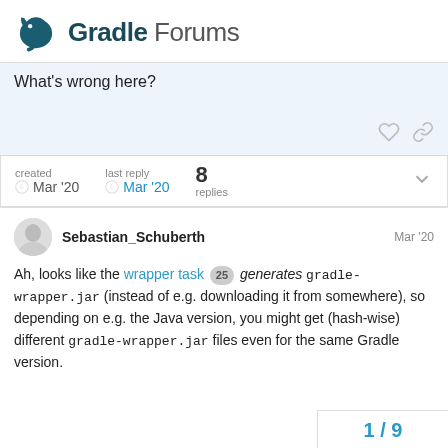Gradle Forums
What's wrong here?
created Mar '20  last reply Mar '20  8 replies
Sebastian_Schuberth  Mar '20
Ah, looks like the wrapper task 25 generates gradle-wrapper.jar (instead of e.g. downloading it from somewhere), so depending on e.g. the Java version, you might get (hash-wise) different gradle-wrapper.jar files even for the same Gradle version.
1 / 9